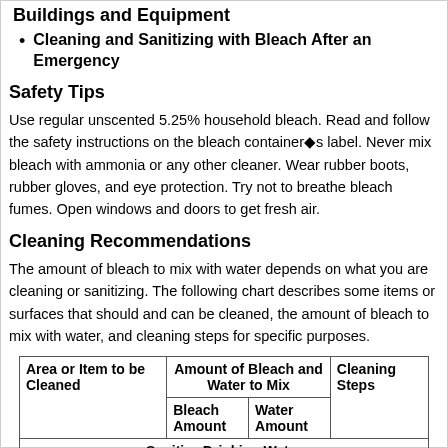Buildings and Equipment
Cleaning and Sanitizing with Bleach After an Emergency
Safety Tips
Use regular unscented 5.25% household bleach. Read and follow the safety instructions on the bleach container�s label. Never mix bleach with ammonia or any other cleaner. Wear rubber boots, rubber gloves, and eye protection. Try not to breathe bleach fumes. Open windows and doors to get fresh air.
Cleaning Recommendations
The amount of bleach to mix with water depends on what you are cleaning or sanitizing. The following chart describes some items or surfaces that should and can be cleaned, the amount of bleach to mix with water, and cleaning steps for specific purposes.
| Area or Item to be Cleaned | Amount of Bleach and Water to Mix | Cleaning Steps |
| --- | --- | --- |
|  | Bleach Amount | Water Amount |  |
| Sanitize Drinking Water |  |  |